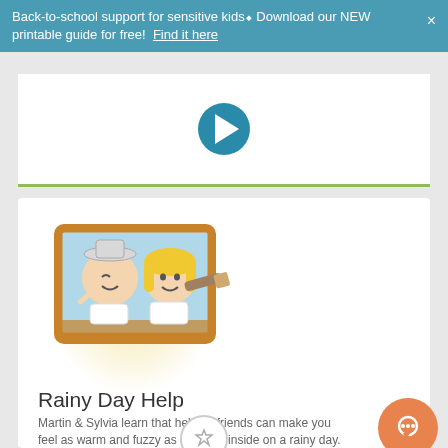Back-to-school support for sensitive kids⬥ Download our NEW printable guide for free! Find it here
[Figure (screenshot): Video player area with teal play button in center, white background, green horizontal bar at bottom]
[Figure (illustration): Two cartoon children (Martin and Sylvia) looking through a mirror/window frame; one wearing a hat, the other holding a telescope. Yellow glow behind them.]
Rainy Day Help
Martin & Sylvia learn that helping friends can make you feel as warm and fuzzy as cuddling inside on a rainy day.